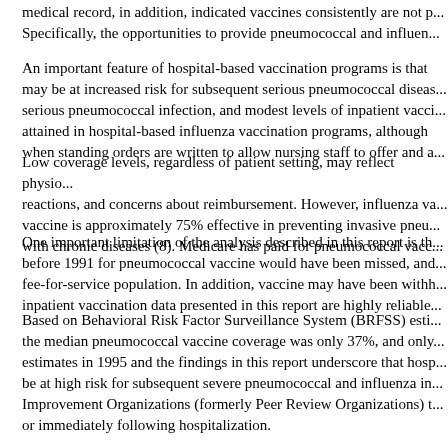medical record, in addition, indicated vaccines consistently are not p... Specifically, the opportunities to provide pneumococcal and influen...
An important feature of hospital-based vaccination programs is that may be at increased risk for subsequent serious pneumococcal diseas... serious pneumococcal infection, and modest levels of inpatient vacci... attained in hospital-based influenza vaccination programs, although when standing orders are written to allow nursing staff to offer and a...
Low coverage levels, regardless of patient setting, may reflect physi... reactions, and concerns about reimbursement. However, influenza va... vaccine is approximately 75% effective in preventing invasive pneu... with chronic diseases (8). Medicare has paid for pneumococcal vacc...
One important limitation of the analysis described in this report is th... before 1991 for pneumococcal vaccine would have been missed, and... fee-for-service population. In addition, vaccine may have been withh... inpatient vaccination data presented in this report are highly reliable...
Based on Behavioral Risk Factor Surveillance System (BRFSS) esti... the median pneumococcal vaccine coverage was only 37%, and only... estimates in 1995 and the findings in this report underscore that hosp... be at high risk for subsequent severe pneumococcal and influenza in... Improvement Organizations (formerly Peer Review Organizations) t... or immediately following hospitalization.